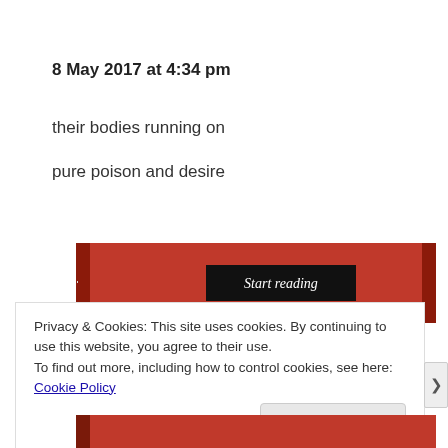8 May 2017 at 4:34 pm
their bodies running on
pure poison and desire
[Figure (screenshot): Red book banner with 'Start reading' button in black]
Privacy & Cookies: This site uses cookies. By continuing to use this website, you agree to their use.
To find out more, including how to control cookies, see here: Cookie Policy